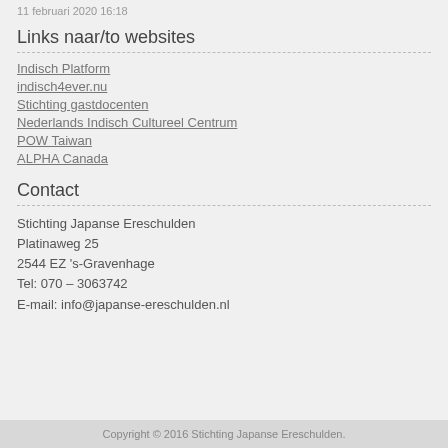11 februari 2020 16:18
Links naar/to websites
Indisch Platform
indisch4ever.nu
Stichting gastdocenten
Nederlands Indisch Cultureel Centrum
POW Taiwan
ALPHA Canada
Contact
Stichting Japanse Ereschulden
Platinaweg 25
2544 EZ ’s-Gravenhage
Tel: 070 – 3063742
E-mail: info@japanse-ereschulden.nl
Copyright © 2016 Stichting Japanse Ereschulden.